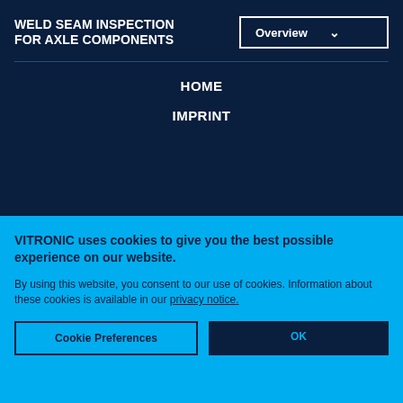WELD SEAM INSPECTION FOR AXLE COMPONENTS
HOME
IMPRINT
VITRONIC uses cookies to give you the best possible experience on our website.
By using this website, you consent to our use of cookies. Information about these cookies is available in our privacy notice.
Cookie Preferences
OK